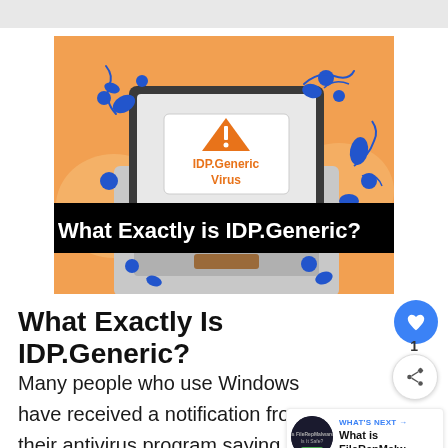[Figure (illustration): Illustration of a laptop with a warning triangle and 'IDP.Generic Virus' text on screen, blue virus-like shapes around it on orange background. Black banner overlay reads 'What Exactly is IDP.Generic?']
What Exactly Is IDP.Generic?
Many people who use Windows have received a notification from their antivirus program saying it found a file infected with